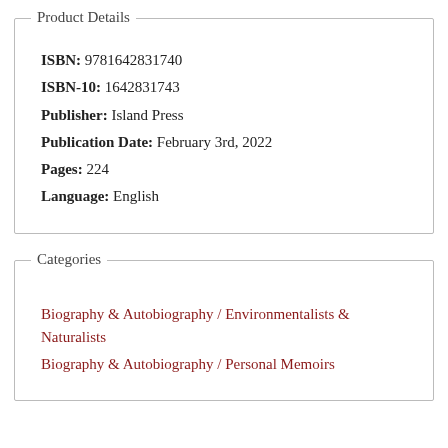Product Details
ISBN: 9781642831740
ISBN-10: 1642831743
Publisher: Island Press
Publication Date: February 3rd, 2022
Pages: 224
Language: English
Categories
Biography & Autobiography / Environmentalists & Naturalists
Biography & Autobiography / Personal Memoirs